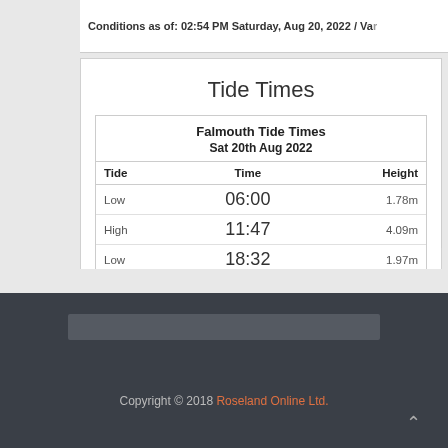Conditions as of: 02:54 PM Saturday, Aug 20, 2022 / Var
Tide Times
| Tide | Time | Height |
| --- | --- | --- |
| Low | 06:00 | 1.78m |
| High | 11:47 | 4.09m |
| Low | 18:32 | 1.97m |
|  | www.tidetimes.org.uk |  |
Copyright © 2018 Roseland Online Ltd.